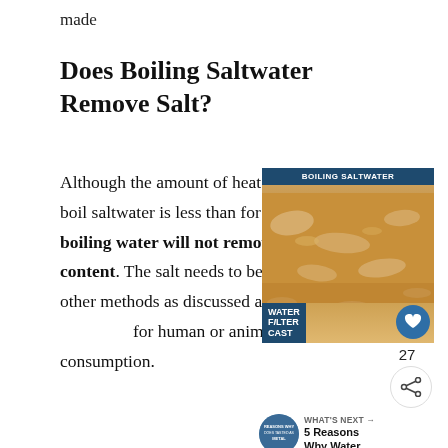made
Does Boiling Saltwater Remove Salt?
Although the amount of heat required to boil saltwater is less than for freshwater, boiling water will not remove its salt content. The salt needs to be extracted by other methods as discussed above to make for human or animal consumption.
[Figure (photo): Photo of boiling saltwater with a teal header reading BOILING SALTWATER and a badge reading WATER FILTER CAST with a heart icon overlay. Below: share count 27 and a share icon. Bottom right shows a WHAT'S NEXT panel: 5 Reasons Why Water...]